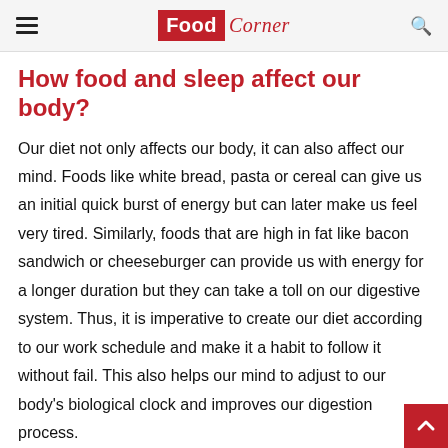Food Corner
How food and sleep affect our body?
Our diet not only affects our body, it can also affect our mind. Foods like white bread, pasta or cereal can give us an initial quick burst of energy but can later make us feel very tired. Similarly, foods that are high in fat like bacon sandwich or cheeseburger can provide us with energy for a longer duration but they can take a toll on our digestive system. Thus, it is imperative to create our diet according to our work schedule and make it a habit to follow it without fail. This also helps our mind to adjust to our body's biological clock and improves our digestion process.